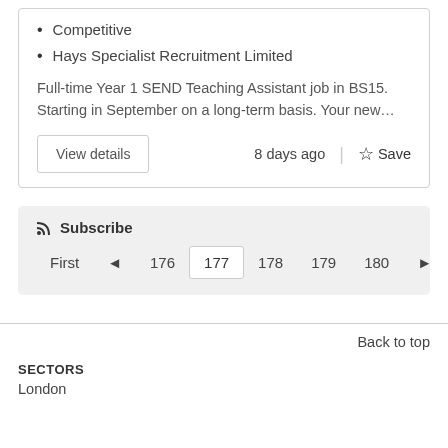Competitive
Hays Specialist Recruitment Limited
Full-time Year 1 SEND Teaching Assistant job in BS15. Starting in September on a long-term basis. Your new…
View details
8 days ago
Save
Subscribe
First  ◄  176  177  178  179  180  ►  Last
Back to top
SECTORS
London